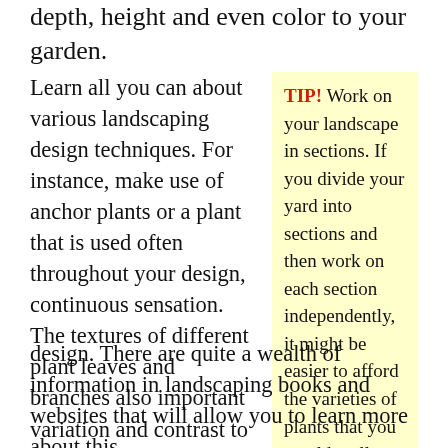depth, height and even color to your garden.
Learn all you can about various landscaping design techniques. For instance, make use of anchor plants or a plant that is used often throughout your design, continuous sensation. The textures of different plant leaves and branches also important variation and contrast to your landscape design. There are quite a wealth of information in landscaping books and websites that will allow you to learn more about this.
TIP! Work on your landscape in sections. If you divide your yard into sections and then work on each section independently, it might be easier to afford the varieties of plants that you would really like to have.